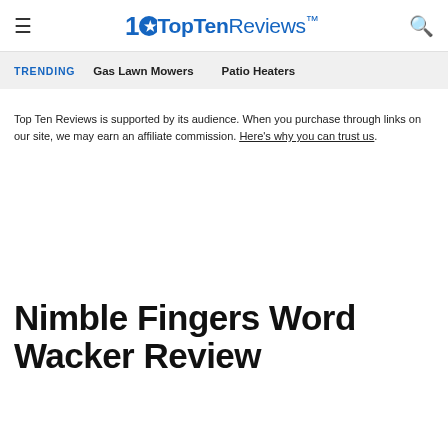TopTenReviews
TRENDING   Gas Lawn Mowers   Patio Heaters
Top Ten Reviews is supported by its audience. When you purchase through links on our site, we may earn an affiliate commission. Here's why you can trust us.
Nimble Fingers Word Wacker Review